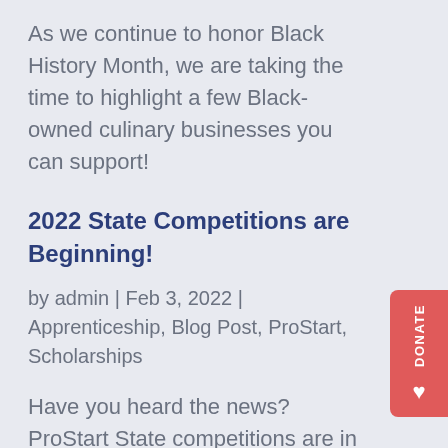As we continue to honor Black History Month, we are taking the time to highlight a few Black-owned culinary businesses you can support!
2022 State Competitions are Beginning!
by admin | Feb 3, 2022 | Apprenticeship, Blog Post, ProStart, Scholarships
Have you heard the news? ProStart State competitions are in full swing! Students will be competing to win their state